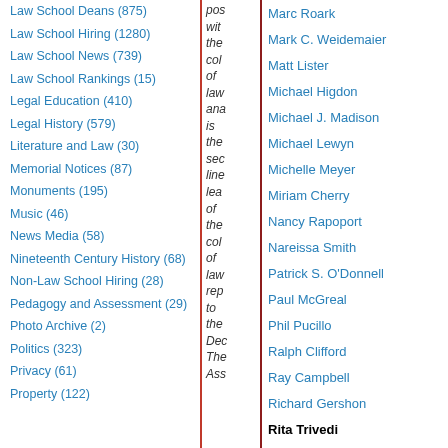Law School Deans (875)
Law School Hiring (1280)
Law School News (739)
Law School Rankings (15)
Legal Education (410)
Legal History (579)
Literature and Law (30)
Memorial Notices (87)
Monuments (195)
Music (46)
News Media (58)
Nineteenth Century History (68)
Non-Law School Hiring (28)
Pedagogy and Assessment (29)
Photo Archive (2)
Politics (323)
Privacy (61)
Property (122)
pos wit the col of law ana is the sec line lea of the col of law rep to the Dec The Ass
Marc Roark
Mark C. Weidemaier
Matt Lister
Michael Higdon
Michael J. Madison
Michael Lewyn
Michelle Meyer
Miriam Cherry
Nancy Rapoport
Nareissa Smith
Patrick S. O'Donnell
Paul McGreal
Phil Pucillo
Ralph Clifford
Ray Campbell
Richard Gershon
Rita Trivedi
Robert Heverly